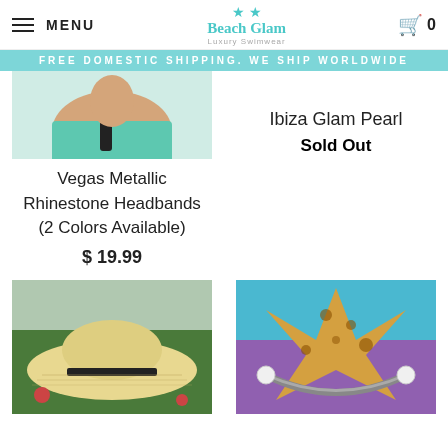MENU | Beach Glam | 0
FREE DOMESTIC SHIPPING. WE SHIP WORLDWIDE
[Figure (photo): Woman wearing teal top with black strap, partial upper body shot]
Ibiza Glam Pearl
Sold Out
Vegas Metallic Rhinestone Headbands (2 Colors Available)
$ 19.99
[Figure (photo): Person wearing wide-brim straw hat with black trim, outdoor garden background]
[Figure (photo): Leopard print starfish with silver cable bracelet with pearl ends on colorful background]